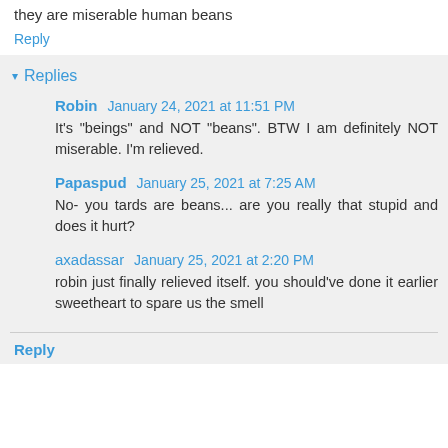they will be miserable after BDT? Which tells me one thing they are miserable human beans
Reply
Replies
Robin January 24, 2021 at 11:51 PM
It's "beings" and NOT "beans". BTW I am definitely NOT miserable. I'm relieved.
Papaspud January 25, 2021 at 7:25 AM
No- you tards are beans... are you really that stupid and does it hurt?
axadassar January 25, 2021 at 2:20 PM
robin just finally relieved itself. you should've done it earlier sweetheart to spare us the smell
Reply